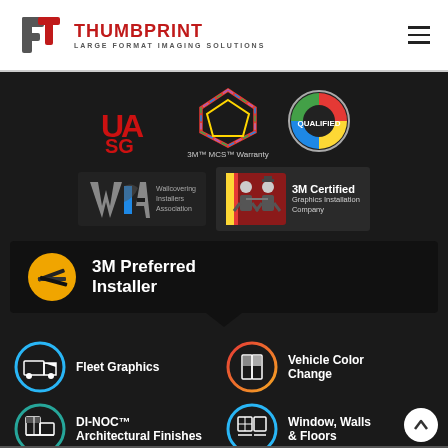[Figure (logo): Thumbprint Large Format Imaging Solutions logo with red and grey T/P icon and hamburger menu]
[Figure (infographic): Dark background section with certification logos: UASG, 3M MCS Warranty (colorful gem shape), color printing Qualified badge, Wallcovering Installers Association, 3M Certified Graphics Installation Company, 3M Preferred Installer banner, and four service icons: Fleet Graphics, Vehicle Color Change, DI-NOC Architectural Finishes, Window Walls & Floors]